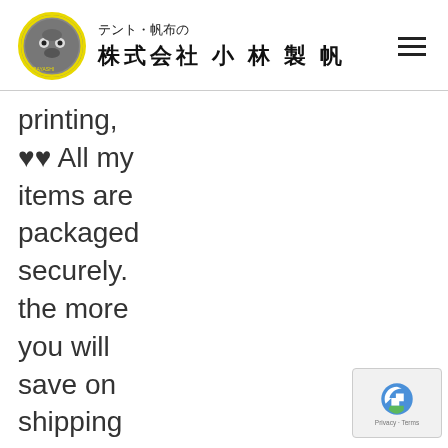テント・帆布の 株式会社 小 林 製 帆
printing,
♥♥ All my items are packaged securely. the more you will save on shipping over the first item price. it's hung on